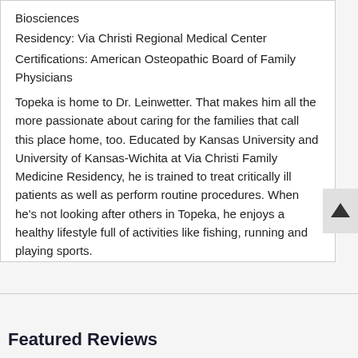Biosciences
Residency: Via Christi Regional Medical Center
Certifications: American Osteopathic Board of Family Physicians
Topeka is home to Dr. Leinwetter. That makes him all the more passionate about caring for the families that call this place home, too. Educated by Kansas University and University of Kansas-Wichita at Via Christi Family Medicine Residency, he is trained to treat critically ill patients as well as perform routine procedures. When he's not looking after others in Topeka, he enjoys a healthy lifestyle full of activities like fishing, running and playing sports.
Featured Reviews